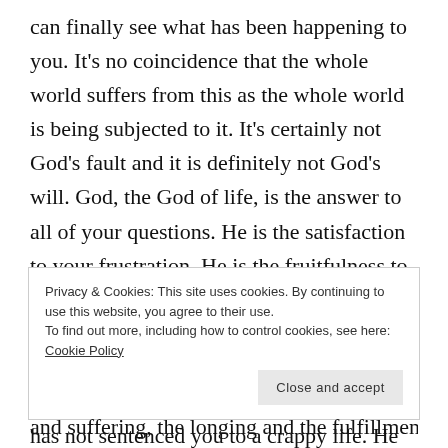can finally see what has been happening to you. It's no coincidence that the whole world suffers from this as the whole world is being subjected to it. It's certainly not God's fault and it is definitely not God's will. God, the God of life, is the answer to all of your questions. He is the satisfaction to your frustration. He is the fruitfulness to your futility. He is the forward progress to your feeling stuck. He is the way out, indeed the only way out. He is not chastising you. He is not judging you. He has not sentenced you to a crappy life. He is the polar opposite of all the pain
Privacy & Cookies: This site uses cookies. By continuing to use this website, you agree to their use.
To find out more, including how to control cookies, see here: Cookie Policy
Close and accept
and suffering, the longing and the fulfillment...